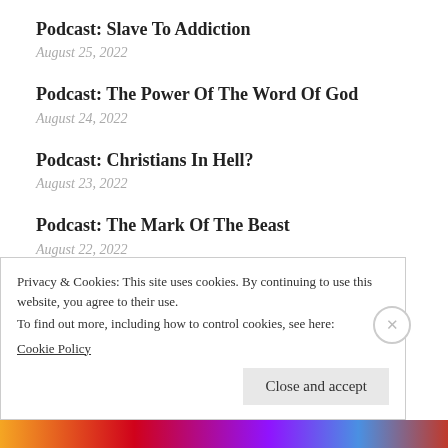Podcast: Slave To Addiction
August 25, 2022
Podcast: The Power Of The Word Of God
August 24, 2022
Podcast: Christians In Hell?
August 23, 2022
Podcast: The Mark Of The Beast
August 22, 2022
Podcast: The Angel Of Death
August 21, 2022
Privacy & Cookies: This site uses cookies. By continuing to use this website, you agree to their use.
To find out more, including how to control cookies, see here:
Cookie Policy